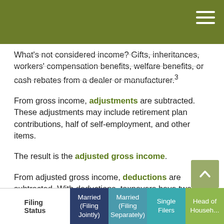What's not considered income? Gifts, inheritances, workers' compensation benefits, welfare benefits, or cash rebates from a dealer or manufacturer.³
From gross income, adjustments are subtracted. These adjustments may include retirement plan contributions, half of self-employment, and other items.
The result is the adjusted gross income.
From adjusted gross income, deductions are subtracted. With deductions, taxpayers have two choices: the standard deduction or itemized deductions. The standard deduction amount varies based on filing status, as shown on this chart:
| Filing Status | Married (Filing Jointly) | Married (Filing Separately) | Single Filers | Head of Household |
| --- | --- | --- | --- | --- |